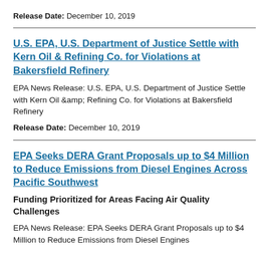Release Date: December 10, 2019
U.S. EPA, U.S. Department of Justice Settle with Kern Oil & Refining Co. for Violations at Bakersfield Refinery
EPA News Release: U.S. EPA, U.S. Department of Justice Settle with Kern Oil &amp; Refining Co. for Violations at Bakersfield Refinery
Release Date: December 10, 2019
EPA Seeks DERA Grant Proposals up to $4 Million to Reduce Emissions from Diesel Engines Across Pacific Southwest
Funding Prioritized for Areas Facing Air Quality Challenges
EPA News Release: EPA Seeks DERA Grant Proposals up to $4 Million to Reduce Emissions from Diesel Engines